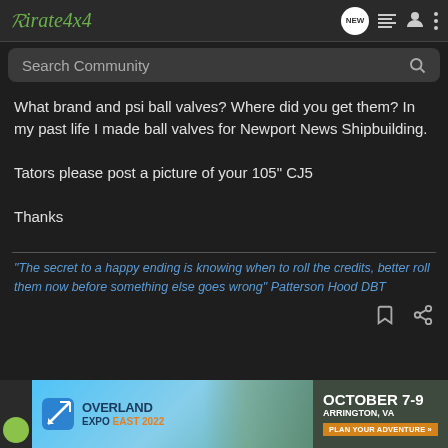Pirate4x4
What brand and psi ball valves? Where did you get them? In my past life I made ball valves for Newport News Shipbuilding.

Tators please post a picture of your 105" CJ5

Thanks
"The secret to a happy ending is knowing when to roll the credits, better roll them now before something else goes wrong" Patterson Hood DBT
[Figure (screenshot): Overland Expo East 2022 advertisement banner: October 7-9, Arrington, VA, Plan Your Adventure]